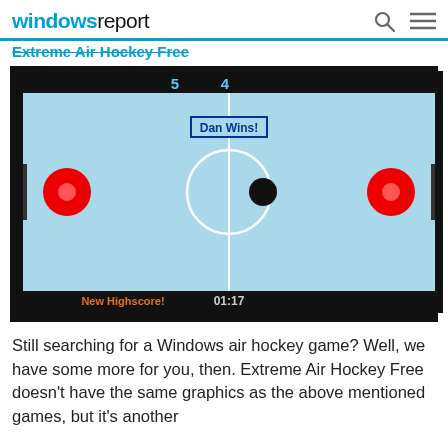windows report
Extreme Air Hockey Free
[Figure (screenshot): Screenshot of Extreme Air Hockey Free game showing a light blue air hockey table with two red paddles on each side, a black puck near center, white center circle and center line, score 5-4 at top, 'Dan Wins!' message in center, 'New Highscore!' text at bottom left, and timer '01:17' at bottom center.]
Still searching for a Windows air hockey game? Well, we have some more for you, then. Extreme Air Hockey Free doesn't have the same graphics as the above mentioned games, but it's another